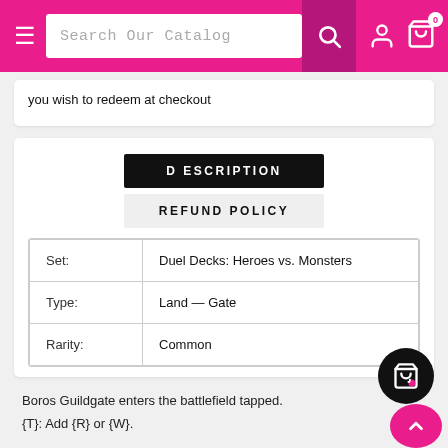Search Our Catalog
you wish to redeem at checkout
DESCRIPTION
REFUND POLICY
|  |  |
| --- | --- |
| Set: | Duel Decks: Heroes vs. Monsters |
| Type: | Land — Gate |
| Rarity: | Common |
Boros Guildgate enters the battlefield tapped.
{T}: Add {R} or {W}.